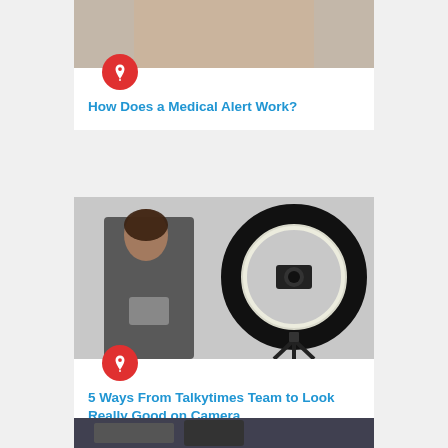[Figure (photo): Partial photo of a person's arm/shoulder, cropped at top]
How Does a Medical Alert Work?
[Figure (photo): Woman in black outfit holding a tablet, beside a ring light with camera on tripod]
5 Ways From Talkytimes Team to Look Really Good on Camera
[Figure (photo): Partial photo at bottom of page, appears to show a screen/monitor setup]